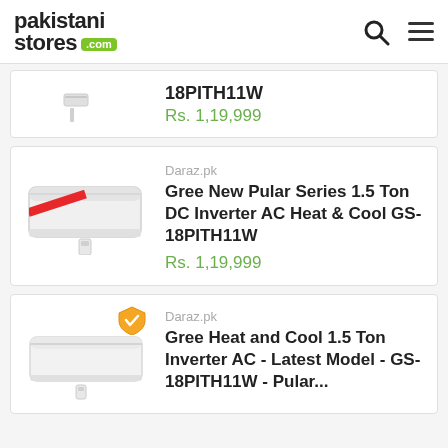pakistanistores.com
18PITH11W
Rs. 1,19,999
Daraz.pk
Gree New Pular Series 1.5 Ton DC Inverter AC Heat & Cool GS-18PITH11W
Rs. 1,19,999
Daraz.pk
Gree Heat and Cool 1.5 Ton Inverter AC - Latest Model - GS-18PITH11W - Pular...